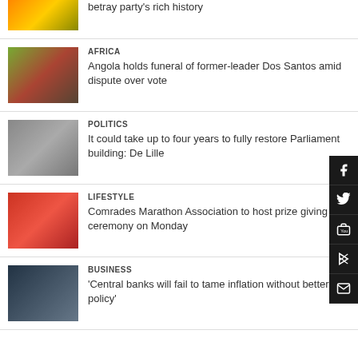[Figure (photo): Partial top news item thumbnail showing yellow and black colors]
betray party's rich history
[Figure (photo): Funeral scene with portrait photo and flowers - Africa story]
AFRICA
Angola holds funeral of former-leader Dos Santos amid dispute over vote
[Figure (photo): Parliament building with fire trucks - Politics story]
POLITICS
It could take up to four years to fully restore Parliament building: De Lille
[Figure (photo): Comrades Marathon runner at event - Lifestyle story]
LIFESTYLE
Comrades Marathon Association to host prize giving ceremony on Monday
[Figure (photo): European Central Bank building/sign - Business story]
BUSINESS
'Central banks will fail to tame inflation without better fiscal policy'